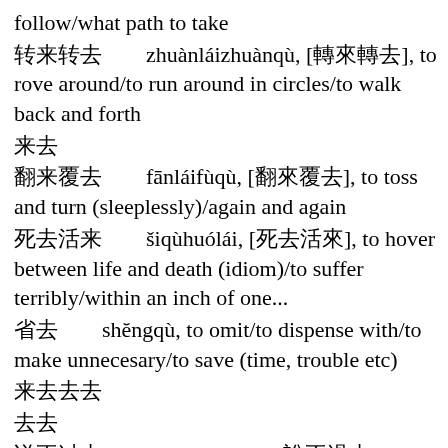follow/what path to take
转来转去        zhuànláizhuànqù, [转来转去], to rove around/to run around in circles/to walk back and forth
来去
翻来覆去        fānláifùqù, [翻来覆去], to toss and turn (sleeplessly)/again and again
死去活来        sǐqùhuólái, [死去活来], to hover between life and death (idiom)/to suffer terribly/within an inch of one...
省去        shěngqù, to omit/to dispense with/to make unnecesary/to save (time, trouble etc)
来去去去
去去
说不过去        shuōbuguòqù, [说不过去], cannot be justified/inexcusable
过去